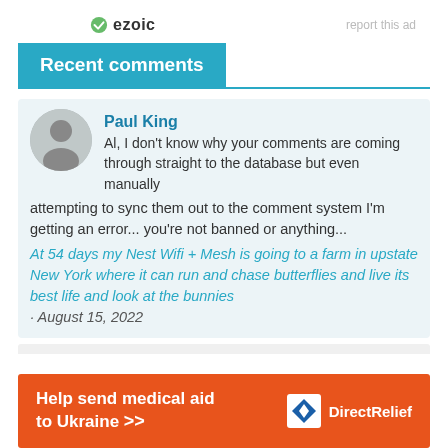[Figure (logo): Ezoic logo with green circular icon and 'ezoic' text, and 'report this ad' text to the right]
Recent comments
Paul King
Al, I don't know why your comments are coming through straight to the database but even manually attempting to sync them out to the comment system I'm getting an error... you're not banned or anything...
At 54 days my Nest Wifi + Mesh is going to a farm in upstate New York where it can run and chase butterflies and live its best life and look at the bunnies · August 15, 2022
[Figure (infographic): Orange banner ad: 'Help send medical aid to Ukraine >>' with Direct Relief logo]